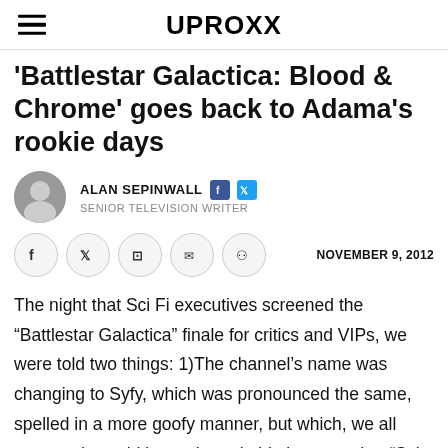UPROXX
'Battlestar Galactica: Blood & Chrome' goes back to Adama's rookie days
ALAN SEPINWALL  SENIOR TELEVISION WRITER
NOVEMBER 9, 2012
The night that Sci Fi executives screened the “Battlestar Galactica” finale for critics and VIPs, we were told two things: 1)The channel’s name was changing to Syfy, which was pronounced the same, spelled in a more goofy manner, but which, we all assumed, would be trademarkable in a way that “Sci Fi” was not; and 2)With the end of “BSG,” The